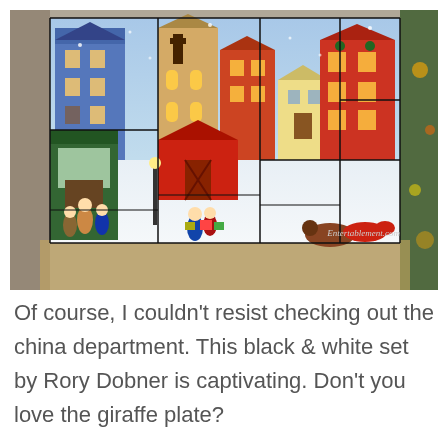[Figure (photo): A Christmas advent calendar box with a colorful winter village scene. The calendar shows snow-covered buildings, carolers, children with gifts, a horse-drawn sleigh, and festive decorations. Black grid lines divide the calendar into door panels. A watermark reads 'Entertablement.com' in the lower right corner. Christmas tree branches are visible on the right side of the photo background.]
Of course, I couldn't resist checking out the china department. This black & white set by Rory Dobner is captivating. Don't you love the giraffe plate?